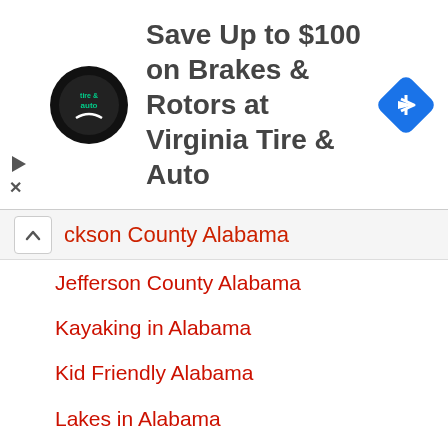[Figure (screenshot): Ad banner for Virginia Tire & Auto with circular logo on the left, bold text 'Save Up to $100 on Brakes & Rotors at Virginia Tire & Auto' in center, and a blue diamond navigation icon on the right. Small play and close (X) icons on the far left.]
ckson County Alabama
Jefferson County Alabama
Kayaking in Alabama
Kid Friendly Alabama
Lakes in Alabama
Lamar County Alabama
Lauderdale County Alabama
Lawrence County Alabama
Lee County Alabama
Limestone County Alabama